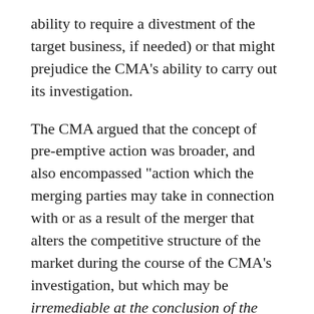ability to require a divestment of the target business, if needed) or that might prejudice the CMA’s ability to carry out its investigation.
The CMA argued that the concept of pre-emptive action was broader, and also encompassed “action which the merging parties may take in connection with or as a result of the merger that alters the competitive structure of the market during the course of the CMA’s investigation, but which may be irremediable at the conclusion of the investigation.”[12]
On 13 May 2021, the Court of Appeal handed down its judgment. The Court dismissed Facebook’s appeal, upholding CAT’s judgment